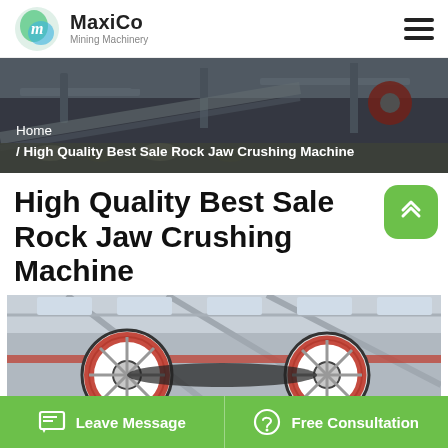MaxiCo Mining Machinery
[Figure (photo): Banner photo of mining/crushing machinery conveyor equipment with breadcrumb navigation overlay showing 'Home / High Quality Best Sale Rock Jaw Crushing Machine']
High Quality Best Sale Rock Jaw Crushing Machine
[Figure (photo): Industrial photo showing large red and white crusher machine flywheels in a factory/warehouse setting with steel framework and skylights]
Leave Message   Free Consultation